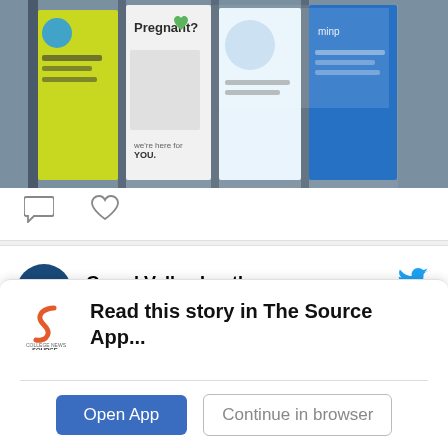[Figure (photo): A photo of a brochure rack display containing various pamphlets, including one that reads 'Pregnant? We're Here for YOU' and others about health topics.]
[Figure (screenshot): Twitter/social media icons: comment bubble and heart (like) icons below the photo.]
Grand Valley Lanthorn @GVLanthorn · 18h
"On Aug. 26 and 27 Grand Rapids Ballet hosted a Summer Dance Festival that showcased different dance groups in the area including the Grand Valley State University Dance Program..."
Read this story in The Source App...
Open App
Continue in browser